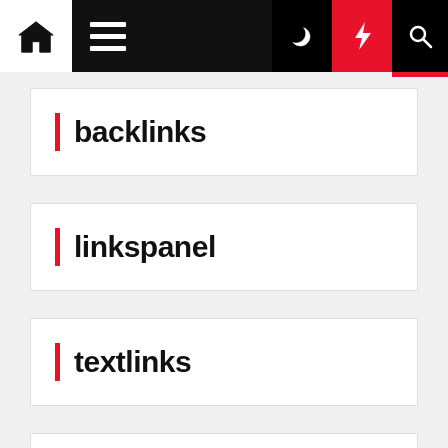Navigation bar with home, menu, moon, bolt, search icons
backlinks
linkspanel
textlinks
promo toyota malang